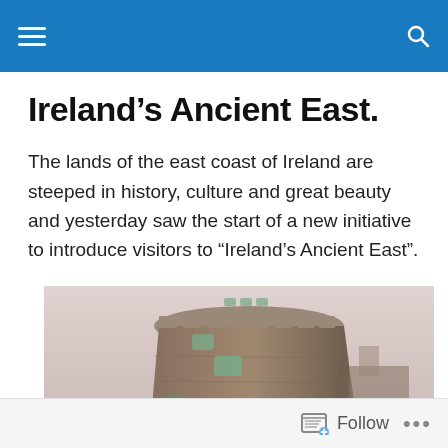Ireland’s Ancient East.
The lands of the east coast of Ireland are steeped in history, culture and great beauty and yesterday saw the start of a new initiative to introduce visitors to “Ireland’s Ancient East”.
[Figure (photo): Looking up at an ancient stone tower or castle turret against a pale pinkish-grey sky. The round stone tower shows medieval architecture with narrow windows.]
Follow …